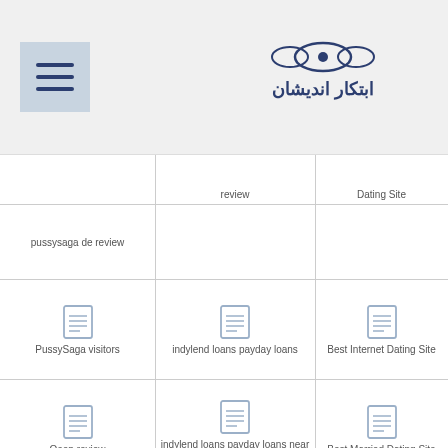[Figure (logo): Hamburger menu icon (three horizontal lines) on blue-grey background]
[Figure (logo): Persian/Arabic decorative logo with text]
| [doc icon] pussysaga de review | [partial] indonesiancupid review | [partial] Dating Site |
| [doc icon] PussySaga visitors | [doc icon] indylend loans payday loans | [doc icon] Best Internet Dating Site |
| [doc icon] Qeep review | [doc icon] indylend loans payday loans near me | [doc icon] Best Married Dating Site |
| [doc icon] quick cash payday loans | [doc icon] instabang rewiev reviews | [doc icon] Best On Line Dating |
| [doc icon partial] | [doc icon partial] | Best On Line |